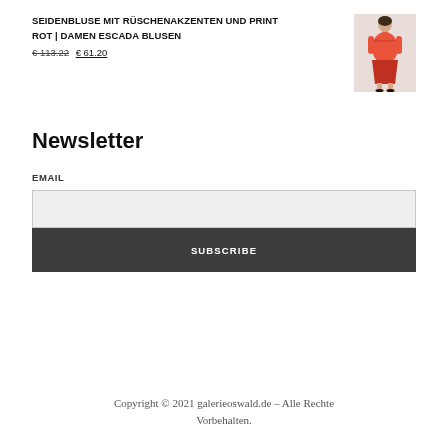SEIDENBLUSE MIT RÜSCHENAKZENTEN UND PRINT ROT | DAMEN ESCADA BLUSEN
€ 113.22 € 61.20
[Figure (photo): Woman wearing a red/coral silk blouse with ruffles, posing in a fashion product photo]
Newsletter
EMAIL
SUBSCRIBE
Copyright © 2021 galerieoswald.de - Alle Rechte Vorbehalten.